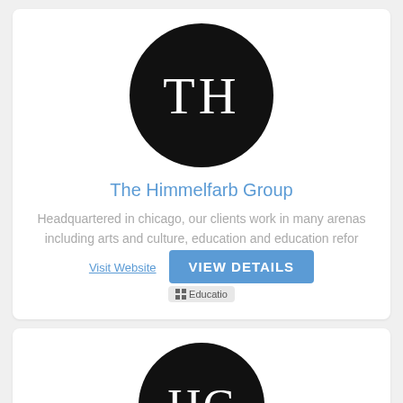[Figure (logo): Black circle with white letters TH — logo for The Himmelfarb Group]
The Himmelfarb Group
Headquartered in chicago, our clients work in many arenas including arts and culture, education and education refor
Visit Website
VIEW DETAILS
Education
[Figure (logo): Black circle with white letters HC — partially visible second organization logo]